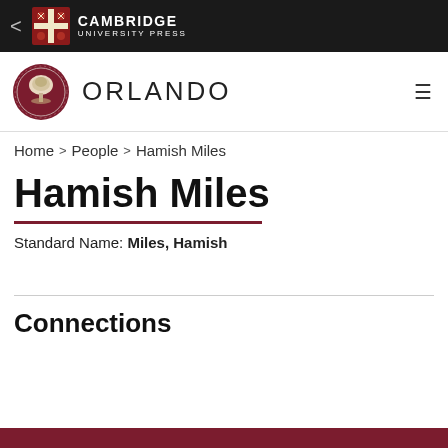Cambridge University Press
ORLANDO
Home > People > Hamish Miles
Hamish Miles
Standard Name: Miles, Hamish
Connections